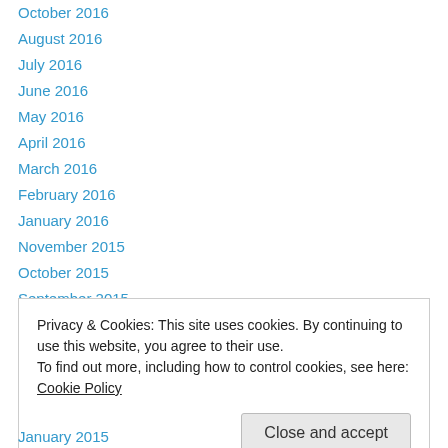October 2016
August 2016
July 2016
June 2016
May 2016
April 2016
March 2016
February 2016
January 2016
November 2015
October 2015
September 2015
August 2015
Privacy & Cookies: This site uses cookies. By continuing to use this website, you agree to their use.
To find out more, including how to control cookies, see here: Cookie Policy
January 2015